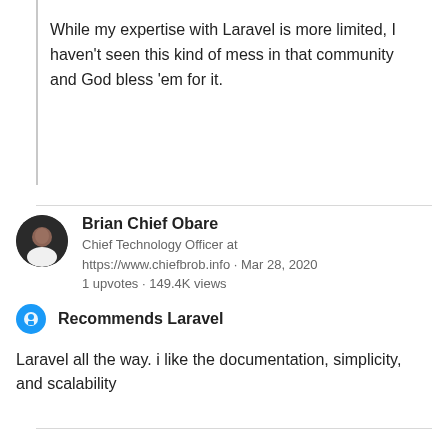While my expertise with Laravel is more limited, I haven't seen this kind of mess in that community and God bless 'em for it.
Brian Chief Obare
Chief Technology Officer at https://www.chiefbrob.info · Mar 28, 2020
1 upvotes · 149.4K views
Recommends Laravel
Laravel all the way. i like the documentation, simplicity, and scalability